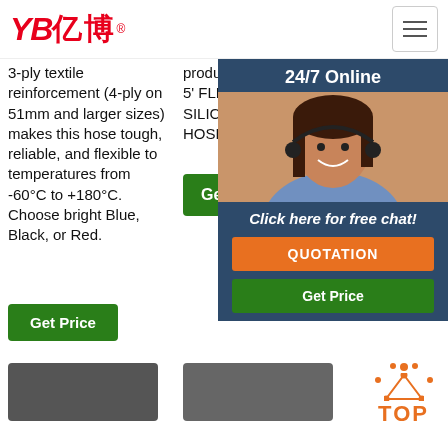YB亿博® [navigation menu icon]
3-ply textile reinforcement (4-ply on 51mm and larger sizes) makes this hose tough, reliable, and flexible to temperatures from -60°C to +180°C. Choose bright Blue, Black, or Red.
product ratings - 1/2' ID X 5' FLEXFAB 5526 BLUE SILICONE HEATER HOSE …
Inch Urea Rubber Solution Def Disp $3. 2 M 100 blac hos rub - $1 Met
[Figure (screenshot): 24/7 Online chat overlay with customer service representative photo and QUOTATION button]
Get Price (column 1 button)
Get Price (column 2 button)
Get Price (column 3 button, partially visible)
[Figure (illustration): TOP arrow icon in orange dots above orange TOP text]
[Figure (photo): Thumbnail images at bottom of page showing hose products]